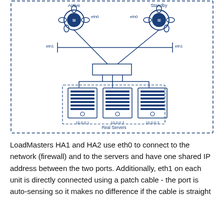[Figure (network-graph): Network diagram showing two LoadMasters (Active and Standby) connected via eth0 and eth1 interfaces to a switch, which connects to three Real Servers labeled 10.0.0.1, 10.0.0.2, and 10.0.0.3. All elements are drawn in dark blue on white background with dashed border around the whole diagram and a dashed box around the Real Servers group.]
LoadMasters HA1 and HA2 use eth0 to connect to the network (firewall) and to the servers and have one shared IP address between the two ports. Additionally, eth1 on each unit is directly connected using a patch cable - the port is auto-sensing so it makes no difference if the cable is straight